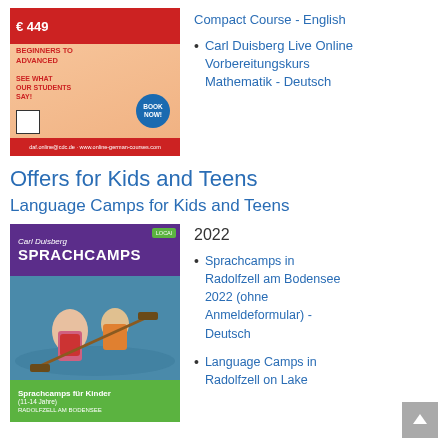[Figure (illustration): Carl Duisberg advertisement showing a girl in a striped shirt. Red banner with '€ 449', text 'BEGINNERS TO ADVANCED', 'SEE WHAT OUR STUDENTS SAY!', QR code, 'BOOK NOW!' circular button, red footer with URL.]
Compact Course - English
Carl Duisberg Live Online Vorbereitungskurs Mathematik - Deutsch
Offers for Kids and Teens
Language Camps for Kids and Teens
[Figure (illustration): Carl Duisberg Sprachcamps brochure cover. Purple header with logo and 'SPRACHCAMPS' title, green badge top right. Photo of children kayaking. Green footer with 'Sprachcamps für Kinder (11-14 Jahre)' and 'RADOLFZELL AM BODENSEE'.]
2022
Sprachcamps in Radolfzell am Bodensee 2022 (ohne Anmeldeformular) - Deutsch
Language Camps in Radolfzell on Lake